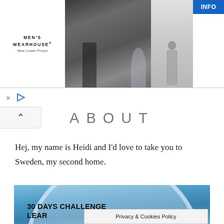[Figure (screenshot): Men's Wearhouse advertisement banner showing a couple in formal wear and a man in a grey suit, with an INFO button on the right.]
× ▷
ABOUT
Hej, my name is Heidi and I'd love to take you to Sweden, my second home.
[Figure (illustration): Bottom portion of a '30 DAYS CHALLENGE LEARN...' promotional image with a circular design on a blue gradient background, partially overlaid with a Privacy & Cookies Policy bar.]
Privacy & Cookies Policy